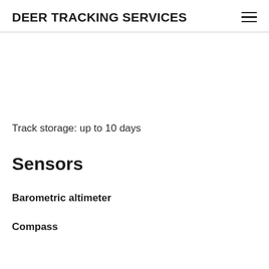DEER TRACKING SERVICES
Track storage: up to 10 days
Sensors
Barometric altimeter
Compass